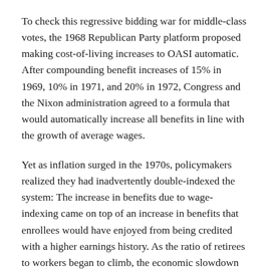To check this regressive bidding war for middle-class votes, the 1968 Republican Party platform proposed making cost-of-living increases to OASI automatic. After compounding benefit increases of 15% in 1969, 10% in 1971, and 20% in 1972, Congress and the Nixon administration agreed to a formula that would automatically increase all benefits in line with the growth of average wages.
Yet as inflation surged in the 1970s, policymakers realized they had inadvertently double-indexed the system: The increase in benefits due to wage-indexing came on top of an increase in benefits that enrollees would have enjoyed from being credited with a higher earnings history. As the ratio of retirees to workers began to climb, the economic slowdown squeezed payroll-tax revenues, generating pressure for reform by starving the beast.